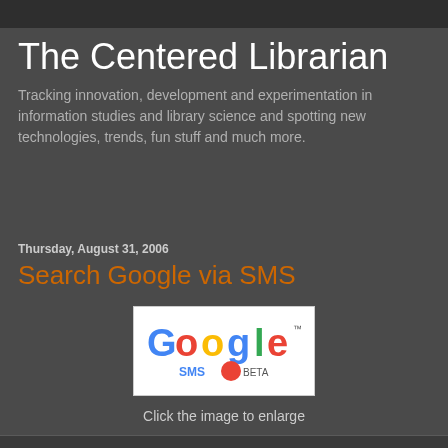The Centered Librarian
Tracking innovation, development and experimentation in information studies and library science and spotting new technologies, trends, fun stuff and much more.
Thursday, August 31, 2006
Search Google via SMS
[Figure (logo): Google SMS Beta logo — the word Google in multicolor with SMS and BETA below it on a white background]
Click the image to enlarge